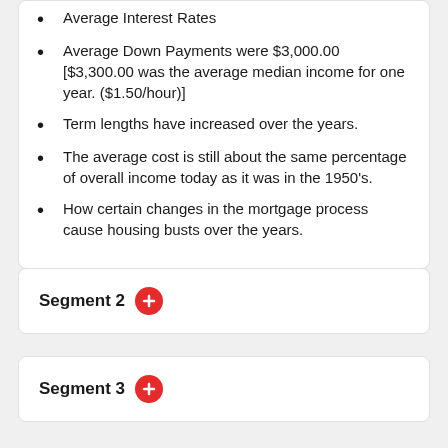Average Interest Rates
Average Down Payments were $3,000.00 [$3,300.00 was the average median income for one year. ($1.50/hour)]
Term lengths have increased over the years.
The average cost is still about the same percentage of overall income today as it was in the 1950's.
How certain changes in the mortgage process cause housing busts over the years.
Segment 2
Segment 3